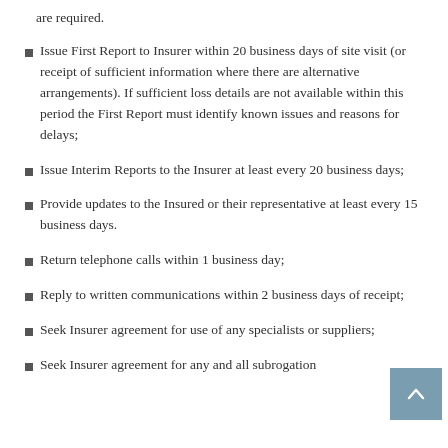are required.
Issue First Report to Insurer within 20 business days of site visit (or receipt of sufficient information where there are alternative arrangements). If sufficient loss details are not available within this period the First Report must identify known issues and reasons for delays;
Issue Interim Reports to the Insurer at least every 20 business days;
Provide updates to the Insured or their representative at least every 15 business days.
Return telephone calls within 1 business day;
Reply to written communications within 2 business days of receipt;
Seek Insurer agreement for use of any specialists or suppliers;
Seek Insurer agreement for any and all subrogation